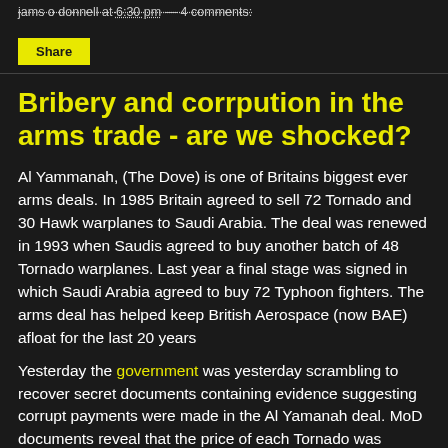jams o donnell at 6:30 pm — 4 comments:
Share
Bribery and corrpution in the arms trade - are we shocked?
Al Yammanah, (The Dove) is one of Britains biggest ever arms deals. In 1985 Britain agreed to sell 72 Tornado and 30 Hawk warplanes to Saudi Arabia. The deal was renewed in 1993 when Saudis agreed to buy another batch of 48 Tornado warplanes. Last year a final stage was signed in which Saudi Arabia agreed to buy 72 Typhoon fighters. The arms deal has helped keep British Aerospace (now BAE) afloat for the last 20 years
Yesterday the government was yesterday scrambling to recover secret documents containing evidence suggesting corrupt payments were made in the Al Yamanah deal. MoD documents reveal that the price of each Tornado was inflated by 32%, from £16.3m to £21.5m. It is common in